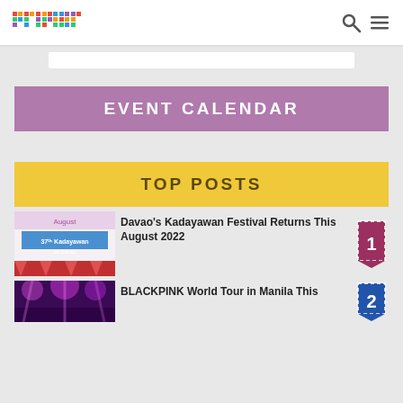primer (logo) with search and menu icons
EVENT CALENDAR
TOP POSTS
Davao's Kadayawan Festival Returns This August 2022
BLACKPINK World Tour in Manila This